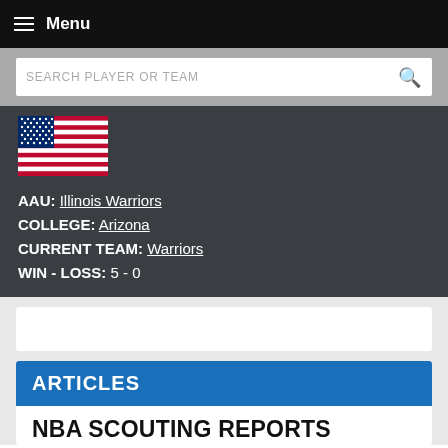Menu
SEARCH PLAYER OR TEAM
[Figure (illustration): United States flag]
AAU: Illinois Warriors
COLLEGE: Arizona
CURRENT TEAM: Warriors
WIN - LOSS: 5 - 0
ARTICLES
NBA SCOUTING REPORTS